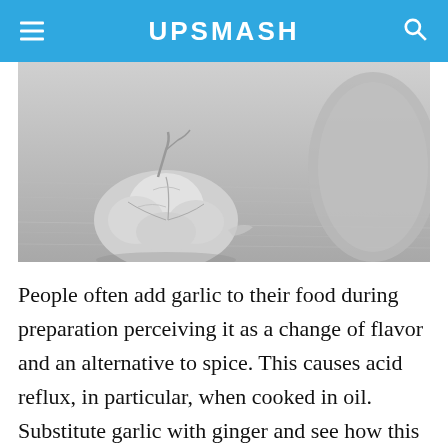UPSMASH
[Figure (photo): Black and white photo of garlic bulbs on a wooden surface with a burlap sack in the background]
People often add garlic to their food during preparation perceiving it as a change of flavor and an alternative to spice. This causes acid reflux, in particular, when cooked in oil. Substitute garlic with ginger and see how this not only flavors up the food but also soothes heartburn.